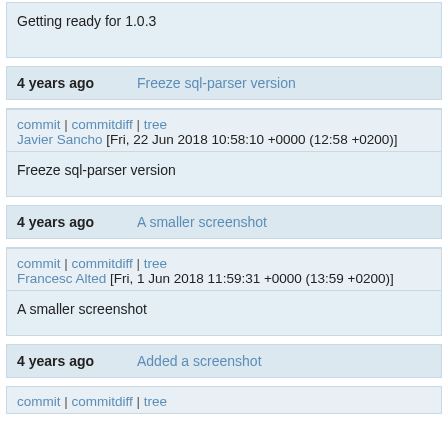Getting ready for 1.0.3
4 years ago  Freeze sql-parser version
commit | commitdiff | tree
Javier Sancho [Fri, 22 Jun 2018 10:58:10 +0000 (12:58 +0200)]
Freeze sql-parser version
4 years ago  A smaller screenshot
commit | commitdiff | tree
Francesc Alted [Fri, 1 Jun 2018 11:59:31 +0000 (13:59 +0200)]
A smaller screenshot
4 years ago  Added a screenshot
commit | commitdiff | tree